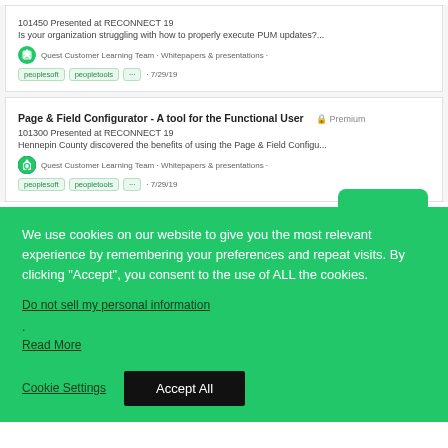101450 Presented at RECONNECT 19
Is your organization struggling with how to properly execute PUM updates?...
Quest Customer Learning Team · Whitepapers & presentations · peoplesoft peopletools ... · 7/29/19
Page & Field Configurator - A tool for the Functional User  Premium
101300 Presented at RECONNECT 19
Hennepin County discovered the benefits of using the Page & Field Configu...
Quest Customer Learning Team · Whitepapers & presentations · peoplesoft peopletools ... · 7/29/19
We use cookies on our website to give you the most relevant experience by remembering your preferences and repeat visits. By clicking "Accept", you consent to the use of ALL the cookies.
Do not sell my personal information.
Read More
Cookie Settings   Accept All